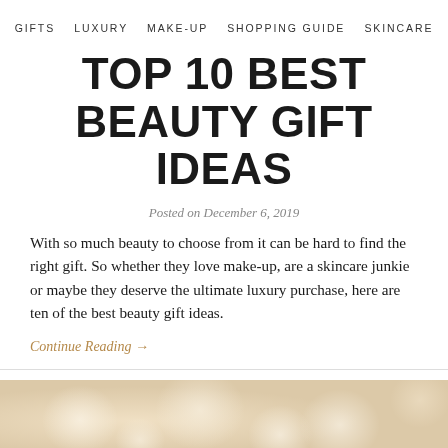GIFTS   LUXURY   MAKE-UP   SHOPPING GUIDE   SKINCARE
TOP 10 BEST BEAUTY GIFT IDEAS
Posted on December 6, 2019
With so much beauty to choose from it can be hard to find the right gift. So whether they love make-up, are a skincare junkie or maybe they deserve the ultimate luxury purchase, here are ten of the best beauty gift ideas.
Continue Reading →
[Figure (photo): Soft focus bokeh background image in warm golden/cream tones at the bottom of the page]